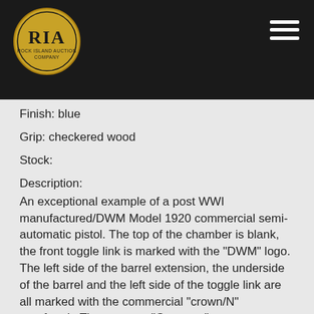[Figure (logo): Rock Island Auction Company logo — gold oval with RIA letters and text]
Finish: blue
Grip: checkered wood
Stock:
Description:
An exceptional example of a post WWI manufactured/DWM Model 1920 commercial semi-automatic pistol. The top of the chamber is blank, the front toggle link is marked with the "DWM" logo. The left side of the barrel extension, the underside of the barrel and the left side of the toggle link are all marked with the commercial "crown/N" proofmark. There are no "Germany" export stamps on this example. The front of the frame and the underside of the barrel both have the militaryatch for an military single bored with th